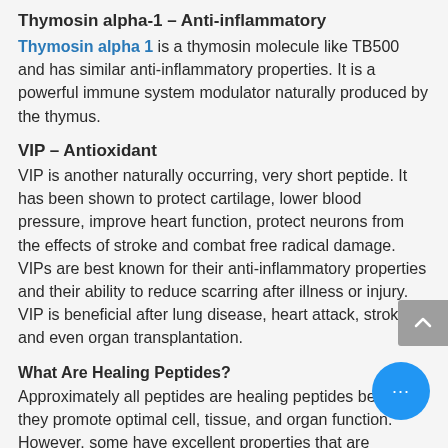Thymosin alpha-1 – Anti-inflammatory
Thymosin alpha 1 is a thymosin molecule like TB500 and has similar anti-inflammatory properties. It is a powerful immune system modulator naturally produced by the thymus.
VIP – Antioxidant
VIP is another naturally occurring, very short peptide. It has been shown to protect cartilage, lower blood pressure, improve heart function, protect neurons from the effects of stroke and combat free radical damage. VIPs are best known for their anti-inflammatory properties and their ability to reduce scarring after illness or injury. VIP is beneficial after lung disease, heart attack, stroke, and even organ transplantation.
What Are Healing Peptides? Approximately all peptides are healing peptides because they promote optimal cell, tissue, and organ function. However, some have excellent properties that are